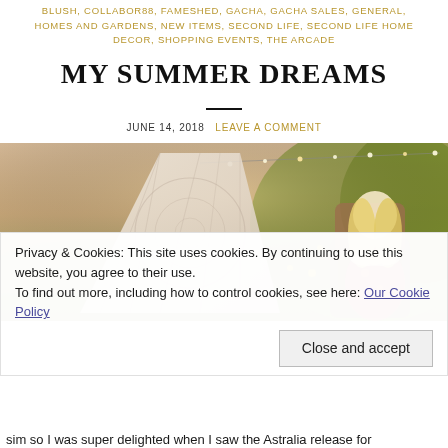BLUSH, COLLABOR88, FAMESHED, GACHA, GACHA SALES, GENERAL, HOMES AND GARDENS, NEW ITEMS, SECOND LIFE, SECOND LIFE HOME DECOR, SHOPPING EVENTS, THE ARCADE
MY SUMMER DREAMS
JUNE 14, 2018   LEAVE A COMMENT
[Figure (photo): A summer outdoor scene from Second Life showing a white draped canopy tent with patterned fabric, string lights in the background, and a woman with long blonde hair sitting in a rattan chair wearing a floral outfit, surrounded by lush greenery and yellow flowers.]
Privacy & Cookies: This site uses cookies. By continuing to use this website, you agree to their use.
To find out more, including how to control cookies, see here: Our Cookie Policy
Close and accept
sim so I was super delighted when I saw the Astralia release for